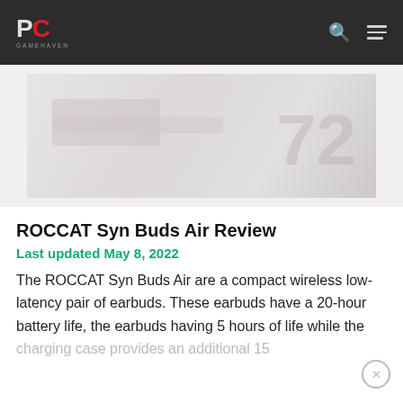PC GAMEHAVEN
[Figure (photo): Hero image showing ROCCAT Syn Buds Air product, faded/washed out background with '72' watermark visible]
ROCCAT Syn Buds Air Review
Last updated May 8, 2022
The ROCCAT Syn Buds Air are a compact wireless low-latency pair of earbuds. These earbuds have a 20-hour battery life, the earbuds having 5 hours of life while the charging case provides an additional 15